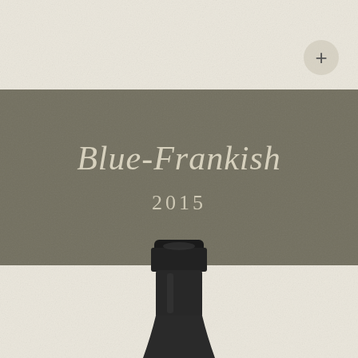Blue-Frankish
2015
[Figure (photo): Top portion of a dark/black wine bottle neck with capsule, shown from above against a cream textured background]